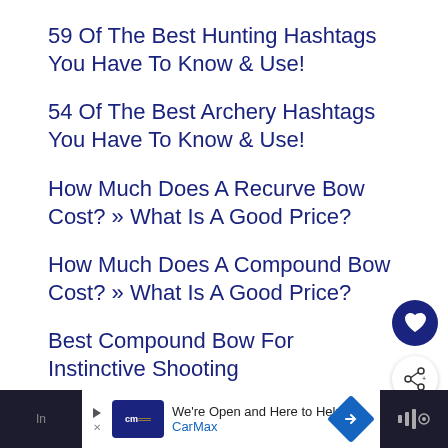59 Of The Best Hunting Hashtags You Have To Know & Use!
54 Of The Best Archery Hashtags You Have To Know & Use!
How Much Does A Recurve Bow Cost? » What Is A Good Price?
How Much Does A Compound Bow Cost? » What Is A Good Price?
Best Compound Bow For Instinctive Shooting
[Figure (other): Advertisement banner for CarMax with play arrow, CarMax logo, text 'We're Open and Here to Help / CarMax', a blue diamond navigation arrow icon, and a dark right panel with audio/bars icon.]